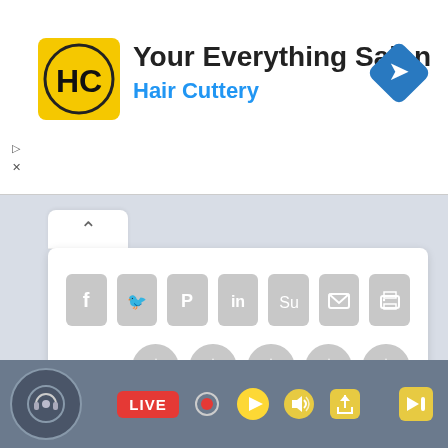[Figure (screenshot): Advertisement banner for Hair Cuttery salon with yellow HC logo, title 'Your Everything Salon', subtitle 'Hair Cuttery' in blue, and a blue navigation arrow icon top right. Small play and close controls on left edge.]
[Figure (screenshot): Social sharing widget card with share buttons (Facebook, Twitter, Pinterest, LinkedIn, StumbleUpon, Email, Print) and a 5-star rating row labeled RATE:. All icons are gray/unselected. Collapse tab with up-caret at top left.]
[Figure (screenshot): Bottom toolbar with dark blue-gray background. Left: circular microphone/headphone icon. Center: red LIVE button, record dot, yellow play button, yellow volume icon, yellow share icon. Right: yellow exit/forward icon.]